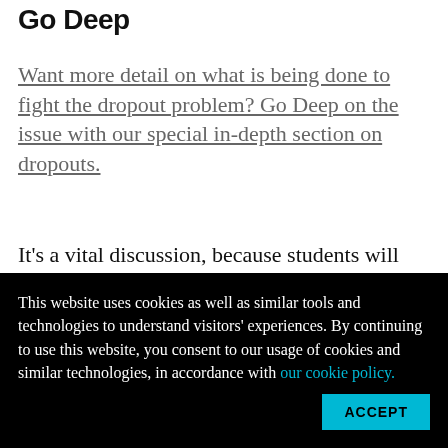Go Deep
Want more detail on what is being done to fight the dropout problem? Go Deep on the issue with our special in-depth section on dropouts.
It’s a vital discussion, because students will have to try the quiz again. In fact, students can fail such quizzes with few repercussions. To progress from unit to unit, a student must pass but he or she can make many attempts. An F
This website uses cookies as well as similar tools and technologies to understand visitors’ experiences. By continuing to use this website, you consent to our usage of cookies and similar technologies, in accordance with our cookie policy.